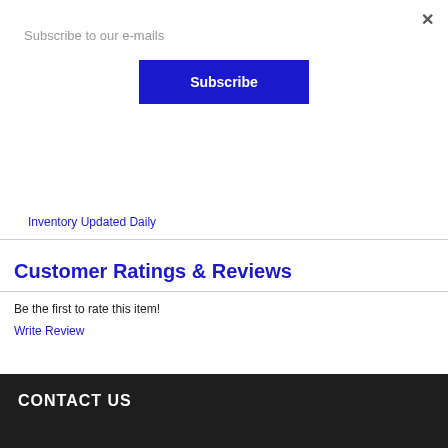×
Subscribe to our e-mails
Subscribe
Inventory Updated Daily
Customer Ratings & Reviews
Be the first to rate this item!
Write Review
CONTACT US